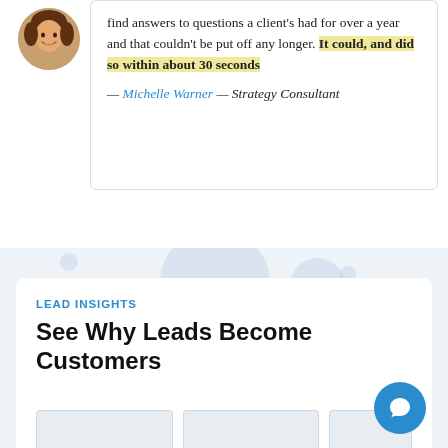[Figure (photo): Circular avatar photo of a woman, smiling, positioned top-left]
find answers to questions a client's had for over a year and that couldn't be put off any longer. It could, and did so within about 30 seconds
— Michelle Warner — Strategy Consultant
LEAD INSIGHTS
See Why Leads Become Customers